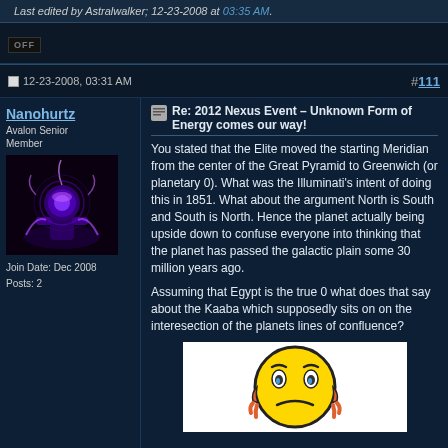Last edited by Astralwalker; 12-23-2008 at 03:35 AM.
OFF
12-23-2008, 03:31 AM  #111
Nanohurtz
Avalon Senior Member
Join Date: Dec 2008
Posts: 2
Re: 2012 Nexus Event – Unknown Form of Energy comes our way!
You stated that the Elite moved the starting Meridian from the center of the Great Pyramid to Greenwich (or planetary 0). What was the Illuminati's intent of doing this in 1851. What about the argument North is South and South is North. Hence the planet actually being upside down to confuse everyone into thinking that the planet has passed the galactic plain some 30 million years ago.
Assuming that Egypt is the true 0 what does that say about the Kaaba which supposedly sits on on the interesection of the planets lines of confluence?
[Figure (illustration): Emoji face showing a confused or worried expression - yellow round face with furrowed brows, teary eyes, frowning mouth, and small hands on cheeks]